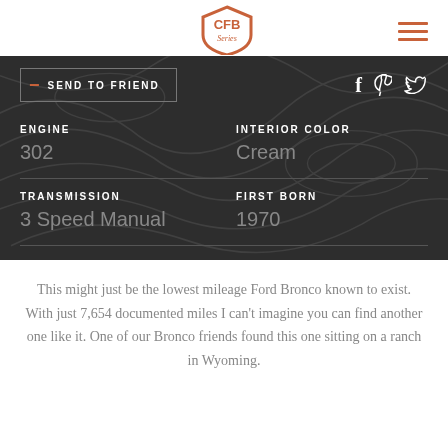CFB Series logo, hamburger menu
SEND TO FRIEND
ENGINE
302
INTERIOR COLOR
Cream
TRANSMISSION
3 Speed Manual
FIRST BORN
1970
This might just be the lowest mileage Ford Bronco known to exist. With just 7,654 documented miles I can't imagine you can find another one like it. One of our Bronco friends found this one sitting on a ranch in Wyoming.